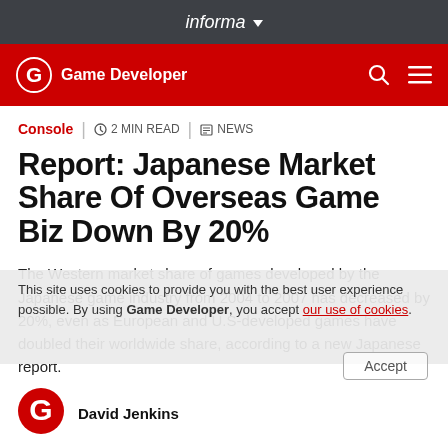informa
Game Developer
Console  2 MIN READ  NEWS
Report: Japanese Market Share Of Overseas Game Biz Down By 20%
The Western market share of games developed by the Japanese game industry from 2004 to 2007 has decreased by 20%, even as European and U.S-developed games have doubled their worldwide share, according to a new Japanese report.
David Jenkins